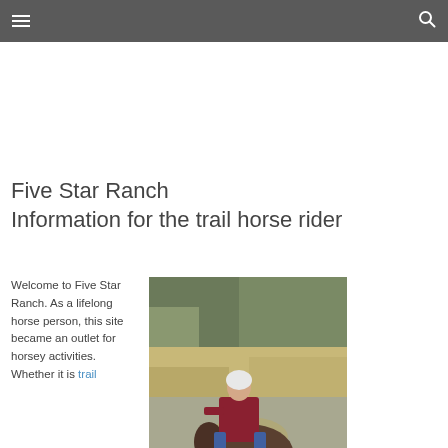≡  🔍
Five Star Ranch
Information for the trail horse rider
Welcome to Five Star Ranch. As a lifelong horse person, this site became an outlet for horsey activities. Whether it is trail
[Figure (photo): A person wearing a white helmet and red sweater riding a horse on a trail with dry grass and trees in the background]